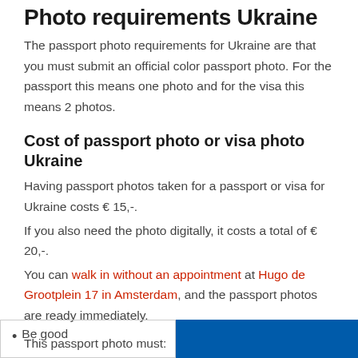Photo requirements Ukraine
The passport photo requirements for Ukraine are that you must submit an official color passport photo. For the passport this means one photo and for the visa this means 2 photos.
Cost of passport photo or visa photo Ukraine
Having passport photos taken for a passport or visa for Ukraine costs € 15,-.
If you also need the photo digitally, it costs a total of € 20,-.
You can walk in without an appointment at Hugo de Grootplein 17 in Amsterdam, and the passport photos are ready immediately.
This passport photo must:
Be good